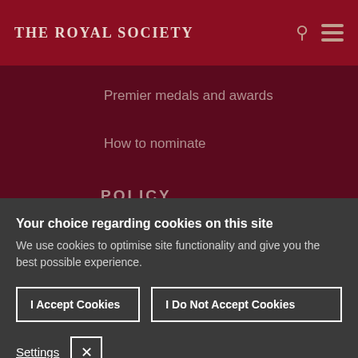THE ROYAL SOCIETY
Premier medals and awards
How to nominate
POLICY
Your choice regarding cookies on this site
We use cookies to optimise site functionality and give you the best possible experience.
I Accept Cookies
I Do Not Accept Cookies
Settings